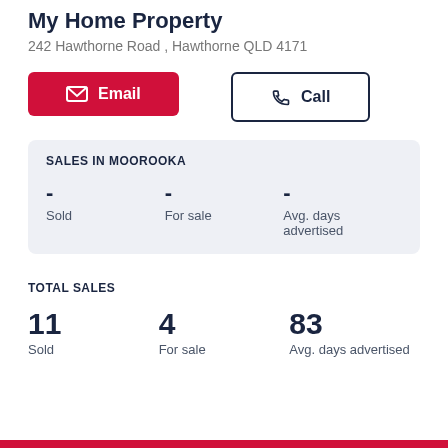My Home Property
242 Hawthorne Road , Hawthorne QLD 4171
SALES IN MOOROOKA
- Sold  - For sale  - Avg. days advertised
TOTAL SALES
11 Sold  4 For sale  83 Avg. days advertised